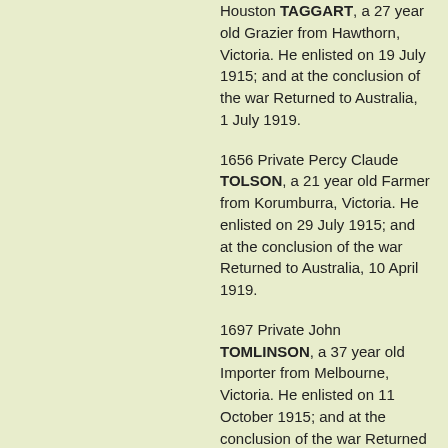Houston TAGGART, a 27 year old Grazier from Hawthorn, Victoria. He enlisted on 19 July 1915; and at the conclusion of the war Returned to Australia, 1 July 1919.
1656 Private Percy Claude TOLSON, a 21 year old Farmer from Korumburra, Victoria. He enlisted on 29 July 1915; and at the conclusion of the war Returned to Australia, 10 April 1919.
1697 Private John TOMLINSON, a 37 year old Importer from Melbourne, Victoria. He enlisted on 11 October 1915; and at the conclusion of the war Returned to Australia, 22 May 1919.
1654 Private Herbert George TOOKE, a 27 year old Miner from Melbourne, Victoria. He enlisted on 27 July 1915; and subsequently Returned to Australia, 12 November 1917.